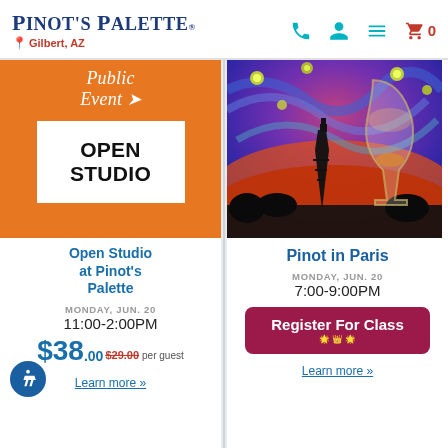Pinot's Palette — Gilbert, AZ
[Figure (illustration): Orange square with 'Public Event' script text on top, white box with bold 'OPEN STUDIO' text below]
Open Studio at Pinot's Palette
MONDAY, JUN. 20
11:00-2:00PM
$38.00 $29.00 per guest
Learn more »
[Figure (photo): Colorful painting of Paris night scene with wine glass in foreground, Eiffel Tower silhouette, starry swirling sky]
Pinot in Paris
MONDAY, JUN. 20
7:00-9:00PM
Register For Class
Learn more »